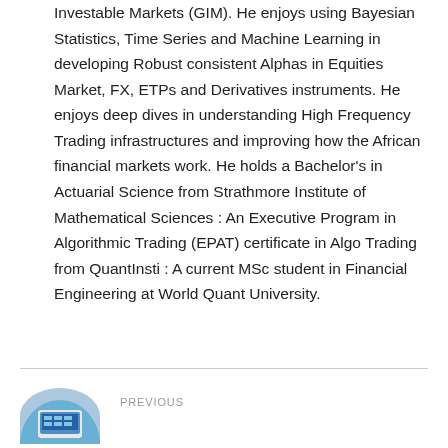Investable Markets (GIM). He enjoys using Bayesian Statistics, Time Series and Machine Learning in developing Robust consistent Alphas in Equities Market, FX, ETPs and Derivatives instruments. He enjoys deep dives in understanding High Frequency Trading infrastructures and improving how the African financial markets work. He holds a Bachelor's in Actuarial Science from Strathmore Institute of Mathematical Sciences : An Executive Program in Algorithmic Trading (EPAT) certificate in Algo Trading from QuantInsti : A current MSc student in Financial Engineering at World Quant University.
PREVIOUS